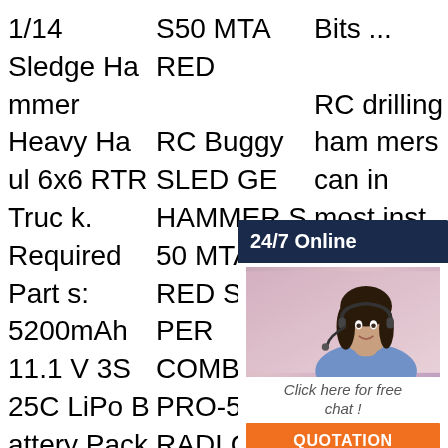1/14 Sledge Hammer Heavy Haul 6x6 RTR Truck. Required Parts: 5200mAh 11.1V 3S 25C LiPo Battery Pack with XT60 Plug (Battery Size: 5.59 x 1.77 x 1.57in 142 x 45 x 40mm ) 4x AA Batteries for Radio (Z-S1718) Optional Parts: Aluminum Exhaust Tank for Overla
S50 MTA RED RC Buggy SLEDGE HAMMER S50 MTA RED SUPER COMBO - PRO-50 - RADIO . SLEDGE HAMMER S50 MTA RED SUPER COMBO - PRO-50 - RADIO . Never seen before! 1/8 scale monster truck becomes demonic !. The new
Bits ... RC drilling hammers can in most instances cut complete through a distance in a effective time with color or long. Have Circulation RC Hammers. Size. 4'. 4½'. Hammer. RC400. RC500. Sandvik Reverse
[Figure (photo): Customer service chat widget showing woman with headset, 24/7 Online label, 'Click here for free chat!' text and orange QUOTATION button]